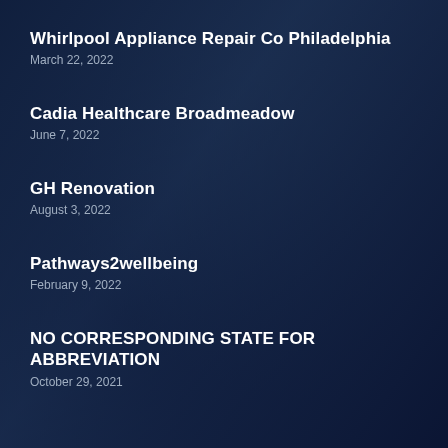Whirlpool Appliance Repair Co Philadelphia
March 22, 2022
Cadia Healthcare Broadmeadow
June 7, 2022
GH Renovation
August 3, 2022
Pathways2wellbeing
February 9, 2022
NO CORRESPONDING STATE FOR ABBREVIATION
October 29, 2021